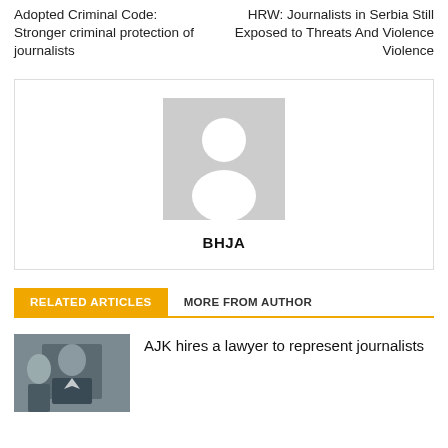Adopted Criminal Code: Stronger criminal protection of journalists
HRW: Journalists in Serbia Still Exposed to Threats And Violence Violence
[Figure (illustration): Author avatar placeholder: grey square with white silhouette of a person]
BHJA
RELATED ARTICLES
MORE FROM AUTHOR
AJK hires a lawyer to represent journalists
[Figure (photo): Photo of a man in a suit at what appears to be a conference or meeting]